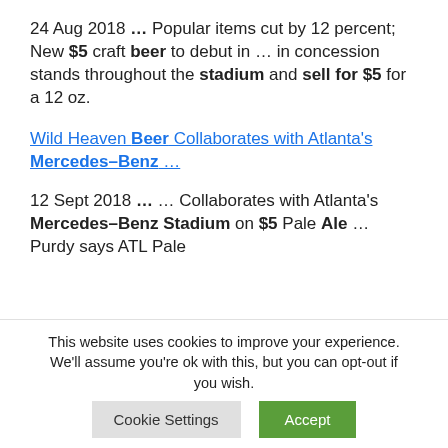24 Aug 2018 ... Popular items cut by 12 percent; New $5 craft beer to debut in ... in concession stands throughout the stadium and sell for $5 for a 12 oz.
Wild Heaven Beer Collaborates with Atlanta's Mercedes–Benz ...
12 Sept 2018 ... ... Collaborates with Atlanta's Mercedes–Benz Stadium on $5 Pale Ale ... Purdy says ATL Pale
This website uses cookies to improve your experience. We'll assume you're ok with this, but you can opt-out if you wish.